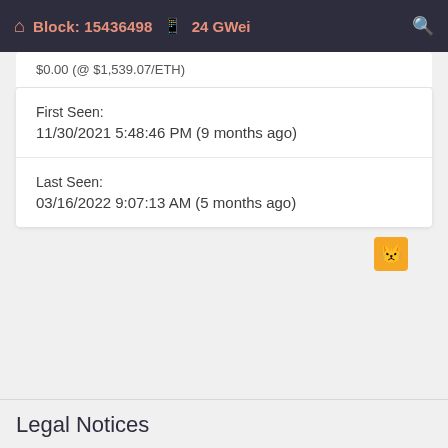Block: 15436498  24 GWei
$0.00 (@ $1,539.07/ETH)
First Seen:
11/30/2021 5:48:46 PM (9 months ago)
Last Seen:
03/16/2022 9:07:13 AM (5 months ago)
Legal Notices